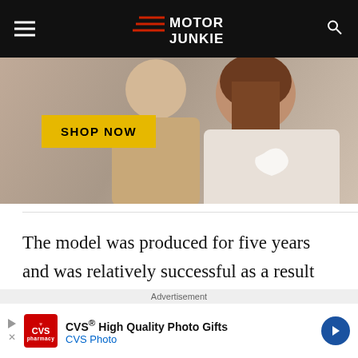Motor Junkie
[Figure (photo): Advertisement photo showing two people in casual clothing with a yellow SHOP NOW button overlay]
The model was produced for five years and was relatively successful as a result with just over 3000 examples sold. The 550 Maranello featured a new 5.5-liter V12
[Figure (other): CVS advertisement: CVS High Quality Photo Gifts - CVS Photo]